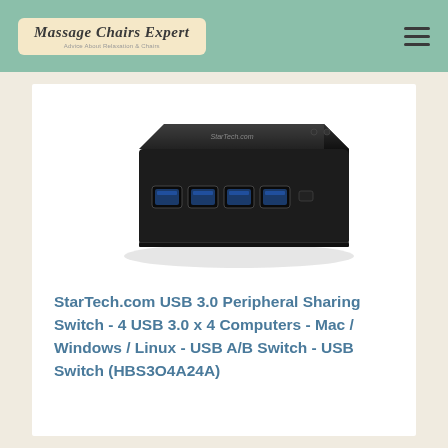Massage Chairs Expert
[Figure (photo): StarTech.com USB 3.0 Peripheral Sharing Switch device - a small black rectangular box with 4 USB 3.0 ports on the front]
StarTech.com USB 3.0 Peripheral Sharing Switch - 4 USB 3.0 x 4 Computers - Mac / Windows / Linux - USB A/B Switch - USB Switch (HBS3O4A24A)